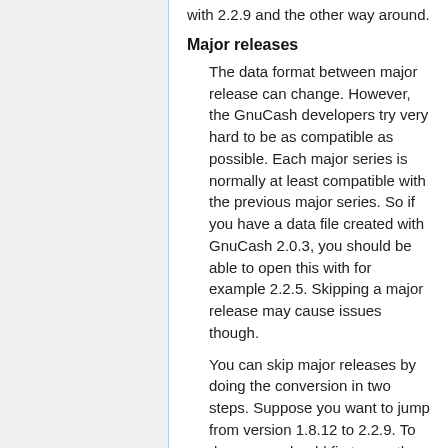with 2.2.9 and the other way around.
Major releases
The data format between major release can change. However, the GnuCash developers try very hard to be as compatible as possible. Each major series is normally at least compatible with the previous major series. So if you have a data file created with GnuCash 2.0.3, you should be able to open this with for example 2.2.5. Skipping a major release may cause issues though.
You can skip major releases by doing the conversion in two steps. Suppose you want to jump from version 1.8.12 to 2.2.9. To do so, you should first open the file with a GnuCash 2.0.x release, save it from within 2.0.x and then open the saved file in 2.2.9.